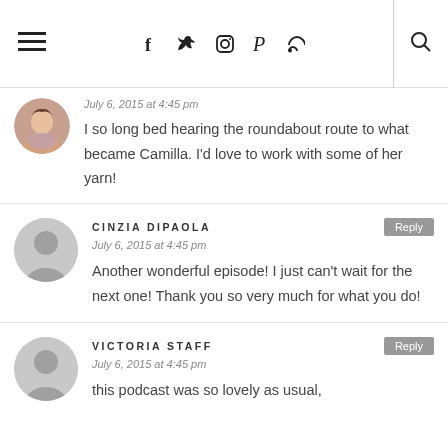≡ navigation bar with social icons and search
July 6, 2015 at 4:45 pm
I so long bed hearing the roundabout route to what became Camilla. I'd love to work with some of her yarn!
CINZIA DIPAOLA
July 6, 2015 at 4:45 pm
Another wonderful episode! I just can't wait for the next one! Thank you so very much for what you do!
VICTORIA STAFF
July 6, 2015 at 4:45 pm
this podcast was so lovely as usual,